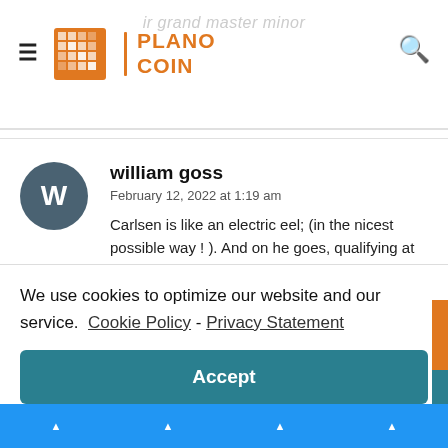Plano Coin
ir grand master minor
william goss
February 12, 2022 at 1:19 am
Carlsen is like an electric eel; (in the nicest possible way ! ). And on he goes, qualifying at the last possible
We use cookies to optimize our website and our service. Cookie Policy - Privacy Statement
Accept